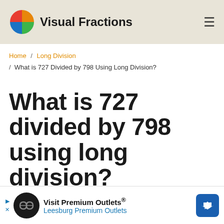Visual Fractions
Home / Long Division / What is 727 Divided by 798 Using Long Division?
What is 727 divided by 798 using long division?
Confused by long division? By the end of this ...
[Figure (infographic): Advertisement banner for Visit Premium Outlets® Leesburg Premium Outlets]